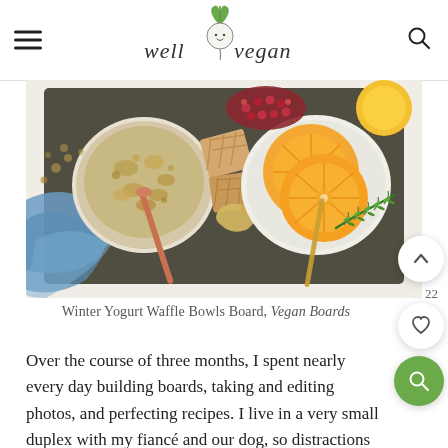well vegan
[Figure (photo): A food photography image of a Winter Yogurt Waffle Bowls Board showing bowls with granola and sliced oranges, waffle crackers, pomegranate seeds, rosemary sprigs, and a blue linen on a dark tray, on a white surface.]
Winter Yogurt Waffle Bowls Board, Vegan Boards
Over the course of three months, I spent nearly every day building boards, taking and editing photos, and perfecting recipes. I live in a very small duplex with my fiancé and our dog, so distractions are plenty and space